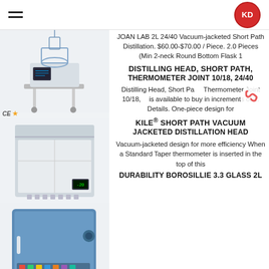KD logo and hamburger menu
[Figure (photo): Lab distillation reactor with glass vessel on white metal stand with wheels, CE mark badge]
[Figure (photo): White laboratory freezer/cooling box with open lid]
[Figure (photo): Blue laboratory oven or furnace with control panel]
JOAN LAB 2L 24/40 Vacuum-jacketed Short Path Distillation. $60.00-$70.00 / Piece. 2.0 Pieces (Min 2-neck Round Bottom Flask 1
DISTILLING HEAD, SHORT PATH,
THERMOMETER JOINT 10/18, 24/40
Distilling Head, Short Path, Thermometer Joint 10/18, is available to buy in increments of 1. Details. One-piece design for
KILE® SHORT PATH VACUUM
JACKETED DISTILLATION HEAD
Vacuum-jacketed design for more efficiency When a Standard Taper thermometer is inserted in the top of this
DURABILITY BOROSILLIE 3.3 GLASS 2L